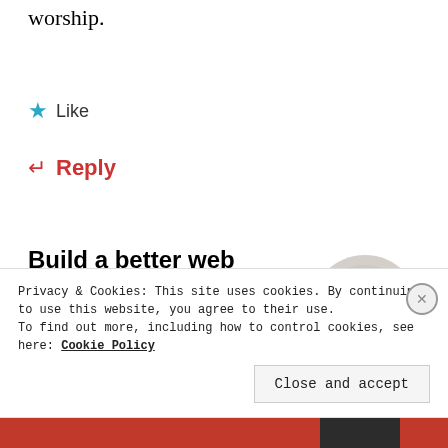worship.
★ Like
↵ Reply
[Figure (infographic): Advertisement block: 'Build a better web and a better world.' with an Apply button and circular photo of a person]
Privacy & Cookies: This site uses cookies. By continuing to use this website, you agree to their use. To find out more, including how to control cookies, see here: Cookie Policy
Close and accept